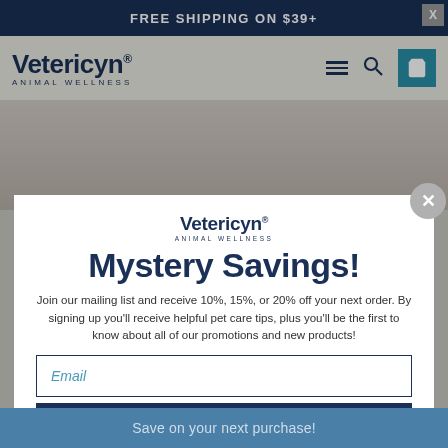FREE SHIPPING ON $39+
[Figure (screenshot): Vetericyn Animal Wellness website navigation bar with logo, hamburger menu, search icon, and cart icon]
[Figure (screenshot): Background website page showing partial animal image behind modal overlay]
Mystery Savings!
Join our mailing list and receive 10%, 15%, or 20% off your next order. By signing up you'll receive helpful pet care tips, plus you'll be the first to know about all of our promotions and new products!
Email
SUBSCRIBE
*By completing this form you are signing up to receive our emails and can unsubscribe at any time.
Save on your next purchase!